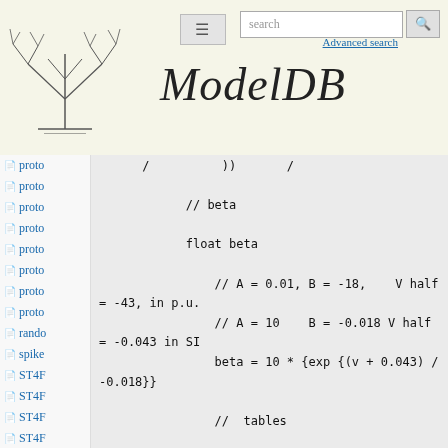ModelDB - Advanced search - search
proto
proto
proto
proto
proto
proto
proto
proto
rando
spike
ST4F
ST4F
ST4F
ST4F
// beta

        float beta

                // A = 0.01, B = -18,    V half = -43, in p.u.
                // A = 10     B = -0.018 V half = -0.043 in SI
                beta = 10 * {exp {(v + 0.043) / -0.018}}

                //  tables

                float tau = 1/(alpha + beta)

                setfield KM6 X_A->table [{i}] {alpha}